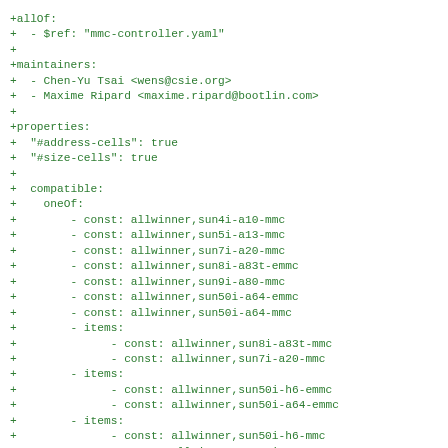+allOf:
+  - $ref: "mmc-controller.yaml"
+
+maintainers:
+  - Chen-Yu Tsai <wens@csie.org>
+  - Maxime Ripard <maxime.ripard@bootlin.com>
+
+properties:
+  "#address-cells": true
+  "#size-cells": true
+
+  compatible:
+    oneOf:
+        - const: allwinner,sun4i-a10-mmc
+        - const: allwinner,sun5i-a13-mmc
+        - const: allwinner,sun7i-a20-mmc
+        - const: allwinner,sun8i-a83t-emmc
+        - const: allwinner,sun9i-a80-mmc
+        - const: allwinner,sun50i-a64-emmc
+        - const: allwinner,sun50i-a64-mmc
+        - items:
+              - const: allwinner,sun8i-a83t-mmc
+              - const: allwinner,sun7i-a20-mmc
+        - items:
+              - const: allwinner,sun50i-h6-emmc
+              - const: allwinner,sun50i-a64-emmc
+        - items:
+              - const: allwinner,sun50i-h6-mmc
+              - const: allwinner,sun50i-a64-mmc
+        - items: